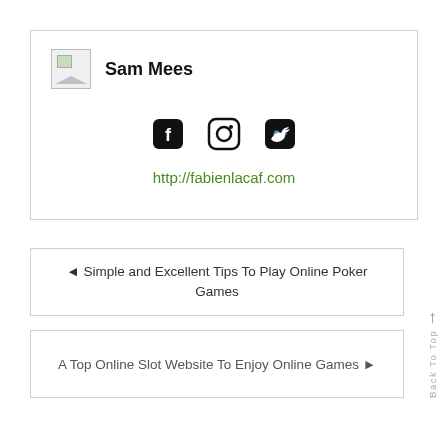[Figure (other): Author profile box with broken image placeholder, name Sam Mees, social icons (Facebook, Instagram, Twitter), and website link]
Sam Mees
http://fabienlacaf.com
◄ Simple and Excellent Tips To Play Online Poker Games
A Top Online Slot Website To Enjoy Online Games ►
Back To Top